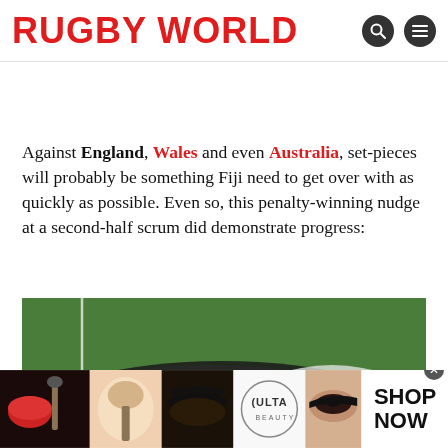RUGBY WORLD
Against England, Wales and even Australia, set-pieces will probably be something Fiji need to get over with as quickly as possible. Even so, this penalty-winning nudge at a second-half scrum did demonstrate progress:
[Figure (photo): Rugby players in a scrum on a grass field, wearing white and blue/black jerseys]
[Figure (photo): Ulta Beauty advertisement banner showing makeup imagery with SHOP NOW call to action]